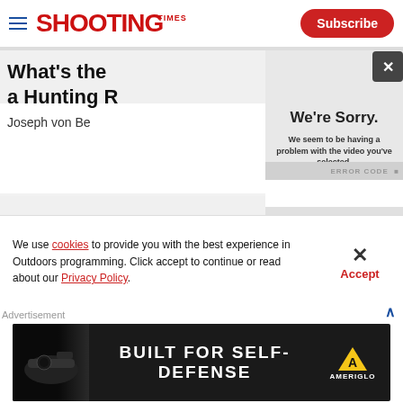Shooting Times — Subscribe
What's the ... a Hunting R...
Joseph von Be...
[Figure (screenshot): Video player error overlay showing 'We're Sorry. We seem to be having a problem with the video you've selected.' with a close (X) button and error code bar at bottom.]
We're Sorry.
We seem to be having a problem with the video you've selected.
We use cookies to provide you with the best experience in Outdoors programming. Click accept to continue or read about our Privacy Policy.
Advertisement
[Figure (photo): Ameriglo advertisement banner: 'BUILT FOR SELF-DEFENSE' with Ameriglo logo on dark background with gun imagery.]